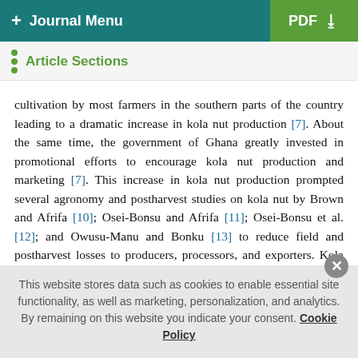+ Journal Menu | PDF
Article Sections
cultivation by most farmers in the southern parts of the country leading to a dramatic increase in kola nut production [7]. About the same time, the government of Ghana greatly invested in promotional efforts to encourage kola nut production and marketing [7]. This increase in kola nut production prompted several agronomy and postharvest studies on kola nut by Brown and Afrifa [10]; Osei-Bonsu and Afrifa [11]; Osei-Bonsu et al. [12]; and Owusu-Manu and Bonku [13] to reduce field and postharvest losses to producers, processors, and exporters. Kola nut thus became one of three leading nontraditional agricultural export (NTAE) crops in Ghana including pineapples and yams
This website stores data such as cookies to enable essential site functionality, as well as marketing, personalization, and analytics. By remaining on this website you indicate your consent. Cookie Policy